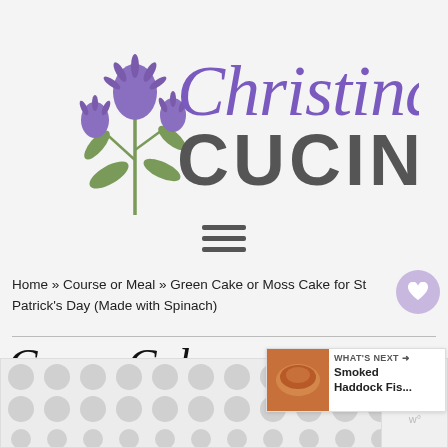[Figure (logo): Christina's Cucina logo with purple thistle flower illustration and stylized purple script 'Christina's' above bold grey 'CUCINA' text]
[Figure (other): Hamburger menu icon with three horizontal lines]
Home » Course or Meal » Green Cake or Moss Cake for St Patrick's Day (Made with Spinach)
Green Cake or Moss Cake for St Patrick's Day
[Figure (other): What's Next panel showing Smoked Haddock Fis... with food photo]
[Figure (other): Advertisement banner with circular dot pattern and close button]